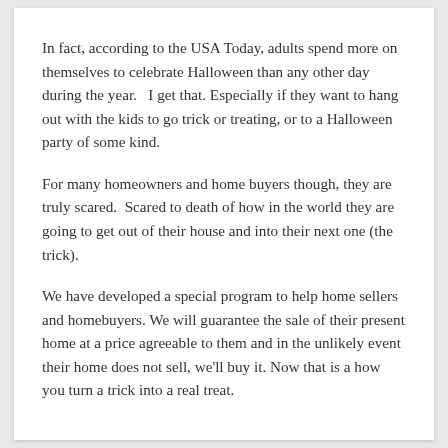In fact, according to the USA Today, adults spend more on themselves to celebrate Halloween than any other day during the year.   I get that. Especially if they want to hang out with the kids to go trick or treating, or to a Halloween party of some kind.
For many homeowners and home buyers though, they are truly scared.  Scared to death of how in the world they are going to get out of their house and into their next one (the trick).
We have developed a special program to help home sellers and homebuyers. We will guarantee the sale of their present home at a price agreeable to them and in the unlikely event their home does not sell, we'll buy it. Now that is a how you turn a trick into a real treat.